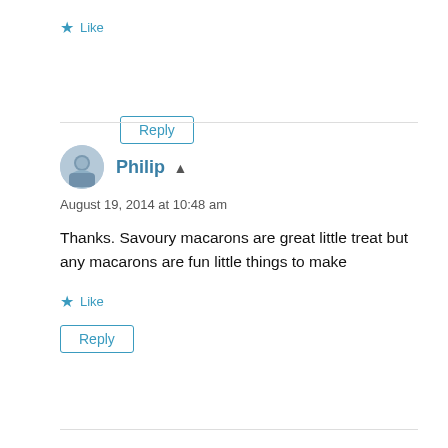★ Like
Reply
Philip ▲
August 19, 2014 at 10:48 am
Thanks. Savoury macarons are great little treat but any macarons are fun little things to make
★ Like
Reply